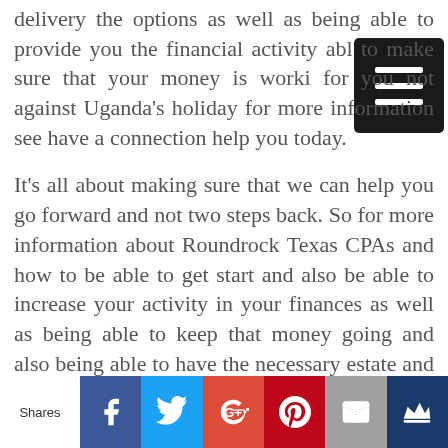delivery the options as well as being able to provide you the financial activity able to make sure that your money is working for you not against Uganda's holiday for more information see have a connection help you today.
It's all about making sure that we can help you go forward and not two steps back. So for more information about Roundrock Texas CPAs and how to be able to get start and also be able to increase your activity in your finances as well as being able to keep that money going and also being able to have the necessary estate and retirement planning's tools necessary
Shares | Facebook | Twitter | Google+ | Pinterest | Email | Crown